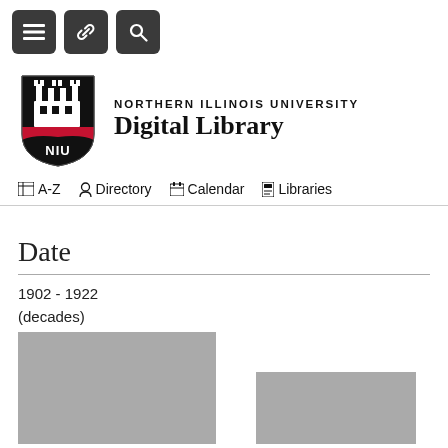[Figure (screenshot): Top navigation bar with three dark square icon buttons: hamburger menu, link/share icon, and search icon]
[Figure (logo): Northern Illinois University Digital Library logo: NIU shield logo on left, university name and 'Digital Library' text on right]
A-Z  Directory  Calendar  Libraries
Date
1902 - 1922
(decades)
[Figure (bar-chart): Partial bar chart showing two gray bars representing date decades, chart is cropped at bottom of page]